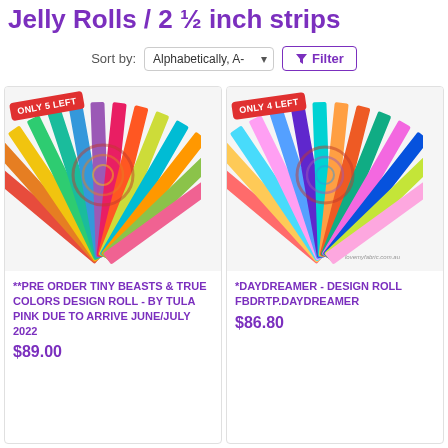Jelly Rolls / 2 ½ inch strips
Sort by: Alphabetically, A-  Filter
[Figure (photo): Fan of colorful fabric strips arranged in a spiral/fan shape with ONLY 5 LEFT badge]
**PRE ORDER TINY BEASTS & TRUE COLORS DESIGN ROLL - BY TULA PINK DUE TO ARRIVE JUNE/JULY 2022
$89.00
[Figure (photo): Fan of colorful fabric strips arranged in a spiral/fan shape with ONLY 4 LEFT badge, watermark: lovemyfabric.com.au]
*DAYDREAMER - DESIGN ROLL FBDRTP.DAYDREAMER
$86.80